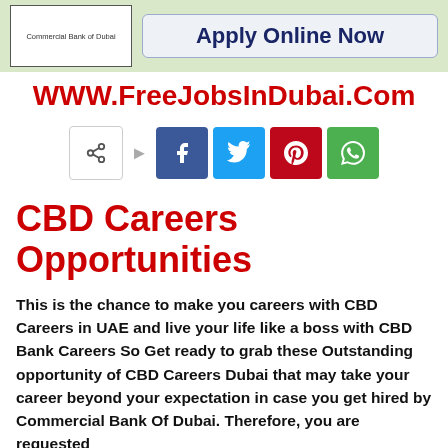[Figure (logo): Commercial Bank of Dubai logo box]
Apply Online Now
WWW.FreeJobsInDubai.Com
[Figure (infographic): Social share buttons: share icon, Facebook, Twitter, Pinterest, WhatsApp]
CBD Careers Opportunities
This is the chance to make you careers with CBD Careers in UAE and live your life like a boss with CBD Bank Careers So Get ready to grab these Outstanding opportunity of CBD Careers Dubai that may take your career beyond your expectation in case you get hired by Commercial Bank Of Dubai. Therefore, you are requested to visit this post and share yourself also have a